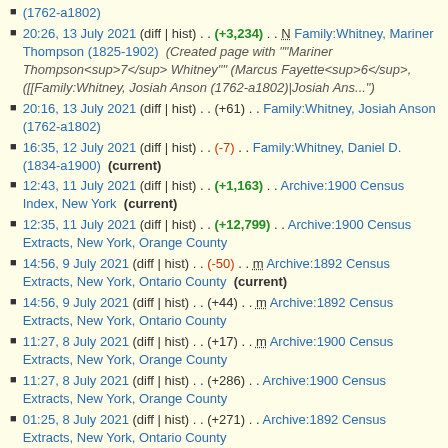Family:Whitney (1762-a1802)
20:26, 13 July 2021 (diff | hist) . . (+3,234) . . N Family:Whitney, Mariner Thompson (1825-1902) (Created page with """Mariner Thompson<sup>7</sup> Whitney"" (Marcus Fayette<sup>6</sup>, ([[Family:Whitney, Josiah Anson (1762-a1802)|Josiah Ans...")
20:16, 13 July 2021 (diff | hist) . . (+61) . . Family:Whitney, Josiah Anson (1762-a1802)
16:35, 12 July 2021 (diff | hist) . . (-7) . . Family:Whitney, Daniel D. (1834-a1900)  (current)
12:43, 11 July 2021 (diff | hist) . . (+1,163) . . Archive:1900 Census Index, New York  (current)
12:35, 11 July 2021 (diff | hist) . . (+12,799) . . Archive:1900 Census Extracts, New York, Orange County
14:56, 9 July 2021 (diff | hist) . . (-50) . . m Archive:1892 Census Extracts, New York, Ontario County  (current)
14:56, 9 July 2021 (diff | hist) . . (+44) . . m Archive:1892 Census Extracts, New York, Ontario County
11:27, 8 July 2021 (diff | hist) . . (+17) . . m Archive:1900 Census Extracts, New York, Orange County
11:27, 8 July 2021 (diff | hist) . . (+286) . . Archive:1900 Census Extracts, New York, Orange County
01:25, 8 July 2021 (diff | hist) . . (+271) . . Archive:1892 Census Extracts, New York, Ontario County